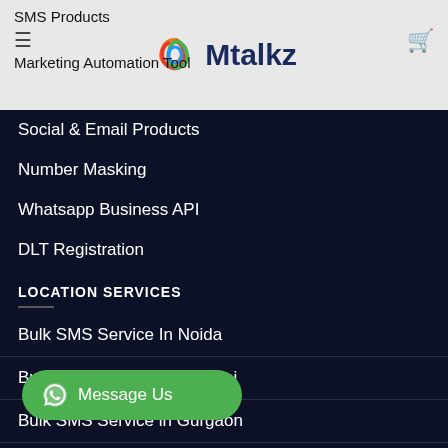SMS Products  ≡  Marketing Automation Tool  [Mtalkz logo]
Social & Email Products
Number Masking
Whatsapp Business API
DLT Registration
LOCATION SERVICES
Bulk SMS Service In Noida
Bulk SMS Service in Mumbai
Bulk SMS Service in Gurgaon
Bulk SMS Service in Chennai
[Figure (other): Green WhatsApp floating button with text 'Message Us']